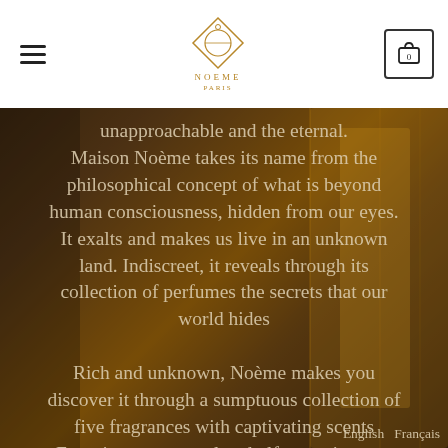NOEME Paris — navigation header with hamburger menu, logo, and cart (0)
unapproachable and the eternal. Maison Noème takes its name from the philosophical concept of what is beyond human consciousness, hidden from our eyes. It exalts and makes us live in an unknown land. Indiscreet, it reveals through its collection of perfumes the secrets that our world hides
Rich and unknown, Noème makes you discover it through a sumptuous collection of five fragrances with captivating scents
Experience a sensual and olfactory journey
Tempt luck and destiny
"Nothing is more propitious than a journey to explore all the wonderful aspects of the
English  Français